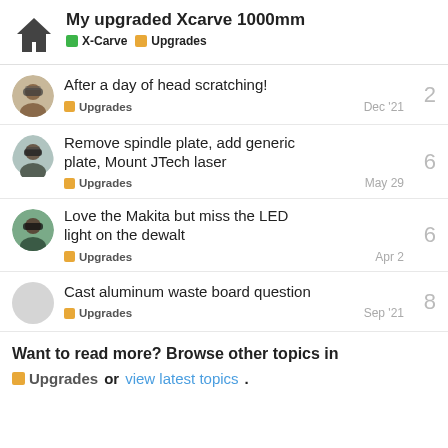My upgraded Xcarve 1000mm — X-Carve | Upgrades
After a day of head scratching! — Upgrades — Dec '21 — 2 replies
Remove spindle plate, add generic plate, Mount JTech laser — Upgrades — May 29 — 6 replies
Love the Makita but miss the LED light on the dewalt — Upgrades — Apr 2 — 6 replies
Cast aluminum waste board question — Upgrades — Sep '21 — 8 replies
Want to read more? Browse other topics in Upgrades or view latest topics.